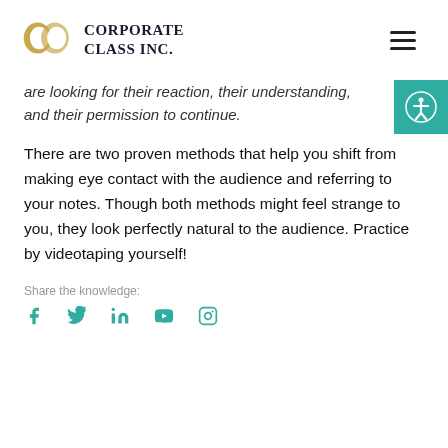CORPORATE CLASS INC.
are looking for their reaction, their understanding, and their permission to continue.
There are two proven methods that help you shift from making eye contact with the audience and referring to your notes. Though both methods might feel strange to you, they look perfectly natural to the audience. Practice by videotaping yourself!
Share the knowledge: